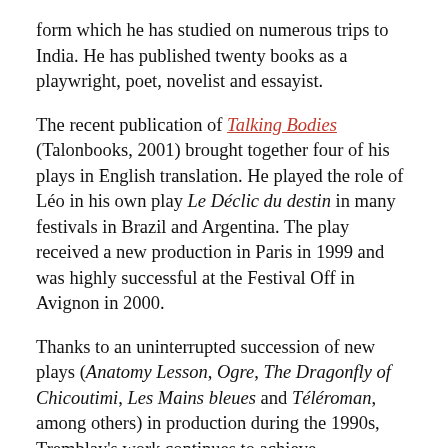form which he has studied on numerous trips to India. He has published twenty books as a playwright, poet, novelist and essayist.
The recent publication of Talking Bodies (Talonbooks, 2001) brought together four of his plays in English translation. He played the role of Léo in his own play Le Déclic du destin in many festivals in Brazil and Argentina. The play received a new production in Paris in 1999 and was highly successful at the Festival Off in Avignon in 2000.
Thanks to an uninterrupted succession of new plays (Anatomy Lesson, Ogre, The Dragonfly of Chicoutimi, Les Mains bleues and Téléroman, among others) in production during the 1990s, Tremblay's work continues to achieve international recognition.
His plays, premiered for the most part in Montreal